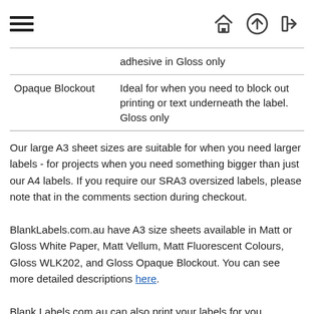☰ 🏠 ⬆ ➡
|  | adhesive in Gloss only |
| Opaque Blockout | Ideal for when you need to block out printing or text underneath the label. Gloss only |
Our large A3 sheet sizes are suitable for when you need larger labels - for projects when you need something bigger than just our A4 labels. If you require our SRA3 oversized labels, please note that in the comments section during checkout.
BlankLabels.com.au have A3 size sheets available in Matt or Gloss White Paper, Matt Vellum, Matt Fluorescent Colours, Gloss WLK202, and Gloss Opaque Blockout. You can see more detailed descriptions here.
Blank Labels.com.au can also print your labels for you.